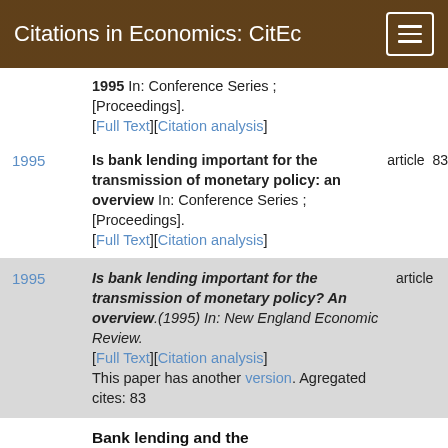Citations in Economics: CitEc
1995 In: Conference Series ; [Proceedings]. [Full Text][Citation analysis]
1995 Is bank lending important for the transmission of monetary policy: an overview In: Conference Series ; [Proceedings]. [Full Text][Citation analysis] article 83
1995 Is bank lending important for the transmission of monetary policy? An overview.(1995) In: New England Economic Review. [Full Text][Citation analysis] article
This paper has another version. Agregated cites: 83
Bank lending and the transmission of monetary